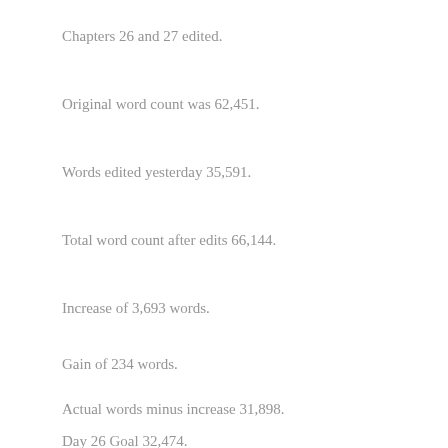Chapters 26 and 27 edited.
Original word count was 62,451.
Words edited yesterday 35,591.
Total word count after edits 66,144.
Increase of 3,693 words.
Gain of 234 words.
Actual words minus increase 31,898.
Day 26 Goal 32,474.